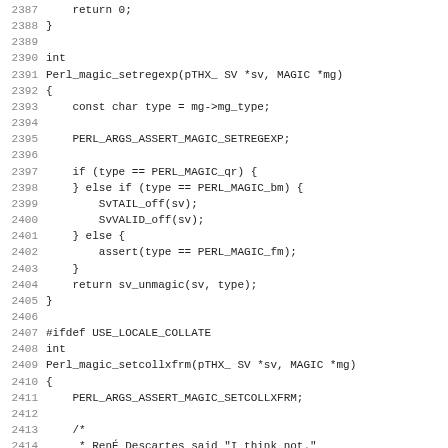Source code listing, lines 2387-2418, C/Perl source code